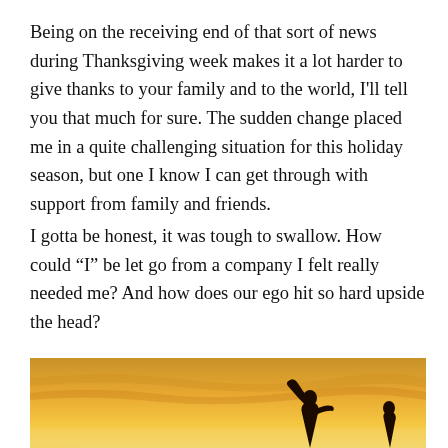Being on the receiving end of that sort of news during Thanksgiving week makes it a lot harder to give thanks to your family and to the world, I'll tell you that much for sure. The sudden change placed me in a quite challenging situation for this holiday season, but one I know I can get through with support from family and friends.
I gotta be honest, it was tough to swallow. How could “I” be let go from a company I felt really needed me? And how does our ego hit so hard upside the head?
[Figure (photo): A silhouette of a person raising their hand against a warm golden sunset sky, with the sun low on the horizon creating a bright glowing light.]